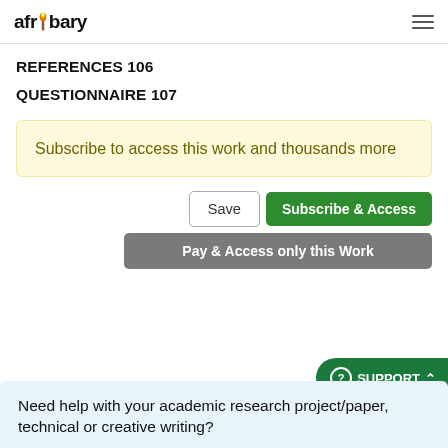afribary
REFERENCES 106
QUESTIONNAIRE 107
Subscribe to access this work and thousands more
Save | Subscribe & Access | Pay & Access only this Work
Need help with your academic research project/paper, technical or creative writing?